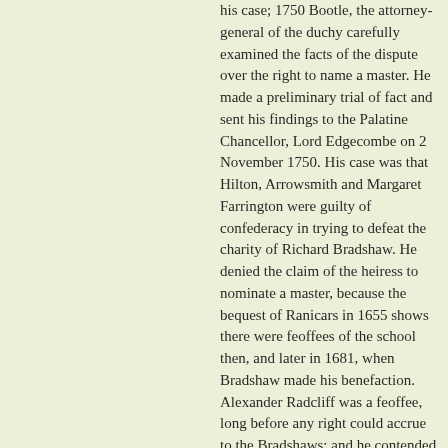his case; 1750 Bootle, the attorney-general of the duchy carefully examined the facts of the dispute over the right to name a master. He made a preliminary trial of fact and sent his findings to the Palatine Chancellor, Lord Edgecombe on 2 November 1750. His case was that Hilton, Arrowsmith and Margaret Farrington were guilty of confederacy in trying to defeat the charity of Richard Bradshaw. He denied the claim of the heiress to nominate a master, because the bequest of Ranicars in 1655 shows there were feoffees of the school then, and later in 1681, when Bradshaw made his benefaction. Alexander Radcliff was a feoffee, long before any right could accrue to the Bradshaws: and he contended the Court of Chancery by its jurisdiction should supply the defect by appointing a proper number of trustees. The attorney-general then dealt with the legal estate of the school and avoiding any attempt to decide where this errant quality was embodied, he argued it ought to be conveyed to the trustees of the school and anyhow, whichever defendant had the legal estate, it could